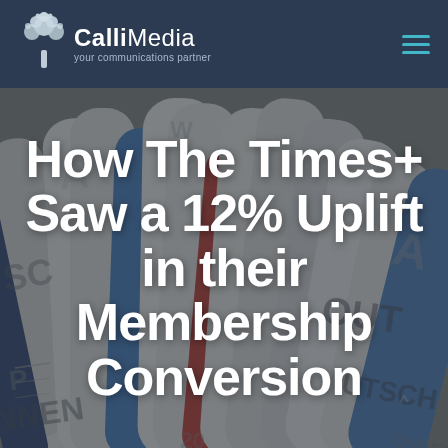[Figure (logo): CalliMedia logo with tree icon and tagline 'your communications partner' on dark navy header bar with teal hamburger menu icon]
How The Times+ Saw a 12% Uplift in their Membership Conversion